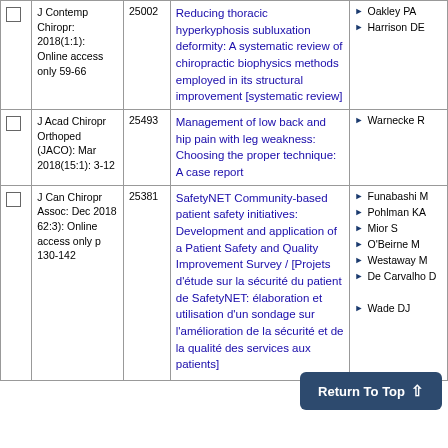|  | Journal | ID | Title | Authors |
| --- | --- | --- | --- | --- |
|  | J Contemp Chiropr: 2018(1:1): Online access only 59-66 | 25002 | Reducing thoracic hyperkyphosis subluxation deformity: A systematic review of chiropractic biophysics methods employed in its structural improvement [systematic review] | Oakley PA
Harrison DE |
|  | J Acad Chiropr Orthoped (JACO): Mar 2018(15:1): 3-12 | 25493 | Management of low back and hip pain with leg weakness: Choosing the proper technique: A case report | Warnecke R |
|  | J Can Chiropr Assoc: Dec 2018 62:3): Online access only p 130-142 | 25381 | SafetyNET Community-based patient safety initiatives: Development and application of a Patient Safety and Quality Improvement Survey / [Projets d'étude sur la sécurité du patient de SafetyNET: élaboration et utilisation d'un sondage sur l'amélioration de la sécurité et de la qualité des services aux patients] | Funabashi M
Pohlman KA
Mior S
O'Beirne M
Westaway M
De Carvalho D
Wade DJ |